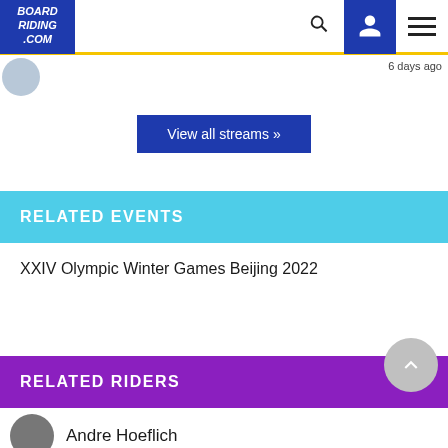BOARD RIDING .COM | navigation bar with search and user icons
6 days ago
View all streams »
RELATED EVENTS
XXIV Olympic Winter Games Beijing 2022
RELATED RIDERS
Andre Hoeflich